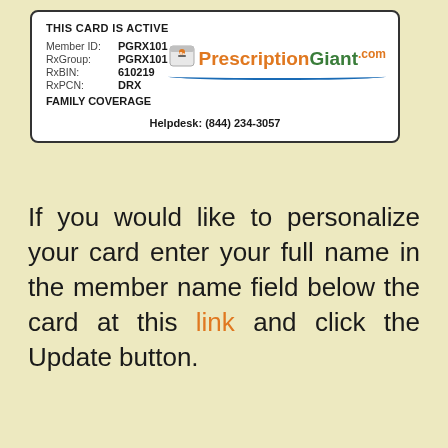[Figure (other): Prescription Giant insurance card showing: THIS CARD IS ACTIVE, Member ID: PGRX101, RxGroup: PGRX101, RxBIN: 610219, RxPCN: DRX, FAMILY COVERAGE, Helpdesk: (844) 234-3057, with the PrescriptionGiant.com logo]
If you would like to personalize your card enter your full name in the member name field below the card at this link and click the Update button.